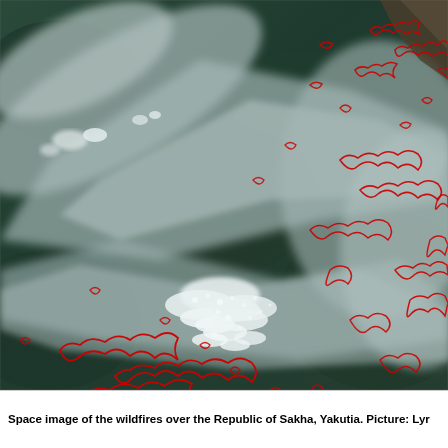[Figure (photo): Satellite image of wildfires over the Republic of Sakha, Yakutia. The image shows a dark green/teal forested landscape partially obscured by grey smoke plumes. Red outlines mark numerous active fire perimeters scattered across the scene. White cloud formations and smoke streaks diagonal across the image.]
Space image of the wildfires over the Republic of Sakha, Yakutia. Picture: Lyr